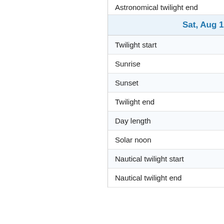| Item | Value |
| --- | --- |
| Astronomical twilight end | 11:08 pm |
| Sat, Aug 13 |  |
| Twilight start | 5:08:14 am |
| Sunrise | 5:44:51 am |
| Sunset | 8:36:20 pm |
| Twilight end | 9:12:57 pm |
| Day length | 14:51:29 |
| Solar noon | 1:10:36 pm |
| Nautical twilight start | 4:18 am |
| Nautical twilight end | 10:02 pm |